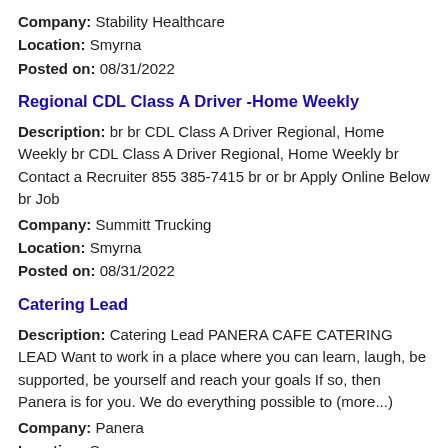Company: Stability Healthcare
Location: Smyrna
Posted on: 08/31/2022
Regional CDL Class A Driver -Home Weekly
Description: br br CDL Class A Driver Regional, Home Weekly br CDL Class A Driver Regional, Home Weekly br Contact a Recruiter 855 385-7415 br or br Apply Online Below br Job
Company: Summitt Trucking
Location: Smyrna
Posted on: 08/31/2022
Catering Lead
Description: Catering Lead PANERA CAFE CATERING LEAD Want to work in a place where you can learn, laugh, be supported, be yourself and reach your goals If so, then Panera is for you. We do everything possible to (more...)
Company: Panera
Location: Smyrna
Posted on: 08/31/2022
Distribution Center Supervisor - Full Time
Description: Position Summary... br br What you'll do... br br Communicate with or to individuals or groups verbally and/or in